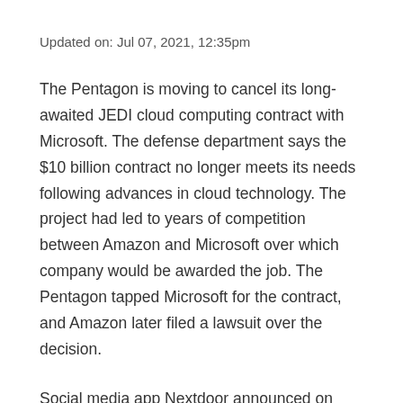Updated on: Jul 07, 2021, 12:35pm
The Pentagon is moving to cancel its long-awaited JEDI cloud computing contract with Microsoft. The defense department says the $10 billion contract no longer meets its needs following advances in cloud technology. The project had led to years of competition between Amazon and Microsoft over which company would be awarded the job. The Pentagon tapped Microsoft for the contract, and Amazon later filed a lawsuit over the decision.
Social media app Nextdoor announced on Tuesday it will be going public via SPAC. The deal with Khosla Ventures acquisition will value the firm at $4.3 billion. Nextdoor CEO Sarah Friar says going public will bring in around $686 million of gross proceeds that will help fuel expansion. The Nextdoor app was created in 2011 and